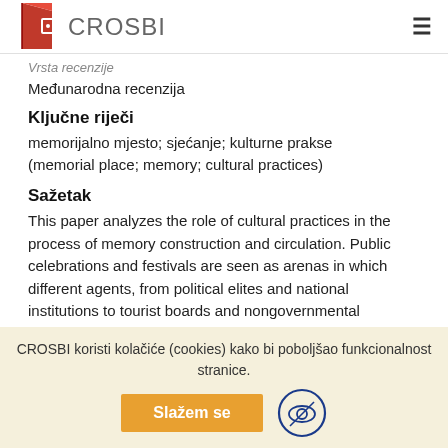CROSBI
Vrsta recenzije
Međunarodna recenzija
Ključne riječi
memorijalno mjesto; sjećanje; kulturne prakse
(memorial place; memory; cultural practices)
Sažetak
This paper analyzes the role of cultural practices in the process of memory construction and circulation. Public celebrations and festivals are seen as arenas in which different agents, from political elites and national institutions to tourist boards and nongovernmental organizations, attach new meanings to images of the past. My aim is to show how individuals participating in those practices come to terms with, negotiate or subvert dominant representations of history. I also pay attention to the relationship between the politics of memory and identity practices of local
CROSBI koristi kolačiće (cookies) kako bi poboljšao funkcionalnost stranice.